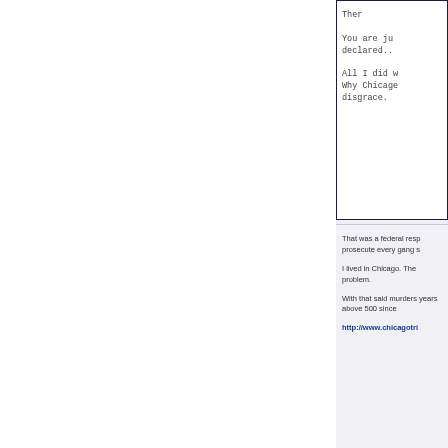Ther

You are ju declared..

All I did w Why Chicagoe disgrace.
That was a federal resp prosecute every gang s

I lived in Chicago. The problem.

With that said murders years above 500 since
http://www.chicagotri